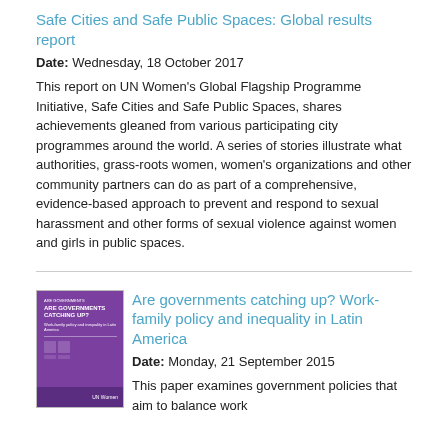Safe Cities and Safe Public Spaces: Global results report
Date: Wednesday, 18 October 2017
This report on UN Women's Global Flagship Programme Initiative, Safe Cities and Safe Public Spaces, shares achievements gleaned from various participating city programmes around the world. A series of stories illustrate what authorities, grass-roots women, women's organizations and other community partners can do as part of a comprehensive, evidence-based approach to prevent and respond to sexual harassment and other forms of sexual violence against women and girls in public spaces.
[Figure (photo): Purple book cover of 'Are governments catching up? Work-family policy and inequality in Latin America' publication]
Are governments catching up? Work-family policy and inequality in Latin America
Date: Monday, 21 September 2015
This paper examines government policies that aim to balance work